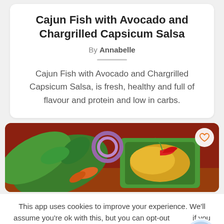Cajun Fish with Avocado and Chargrilled Capsicum Salsa
By Annabelle
Cajun Fish with Avocado and Chargrilled Capsicum Salsa, is fresh, healthy and full of flavour and protein and low in carbs.
[Figure (photo): A colourful dish with food wrapped in banana leaves, garnished with chilli and herbs, served alongside vegetables and onion rings in a red bowl]
This app uses cookies to improve your experience. We'll assume you're ok with this, but you can opt-out if you wish.
Cookie settings   ACCEPT